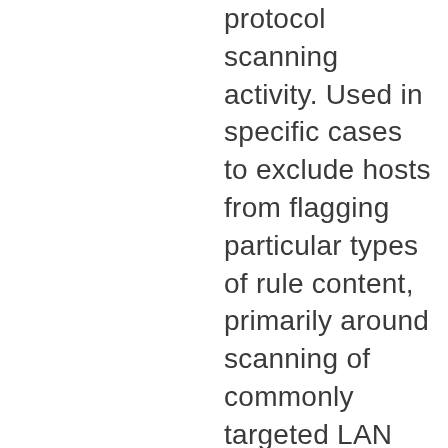protocol scanning activity. Used in specific cases to exclude hosts from flagging particular types of rule content, primarily around scanning of commonly targeted LAN service ports, etc. Not an across-the-board allowlist. This Match List is not intended for